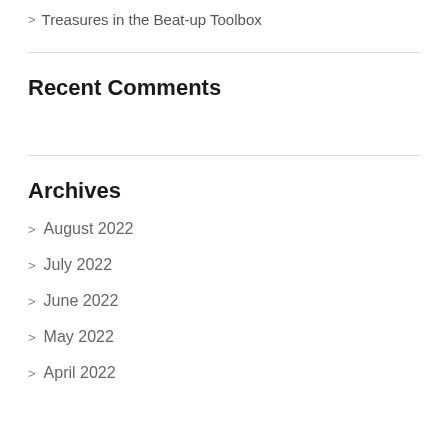Treasures in the Beat-up Toolbox
Recent Comments
Archives
August 2022
July 2022
June 2022
May 2022
April 2022